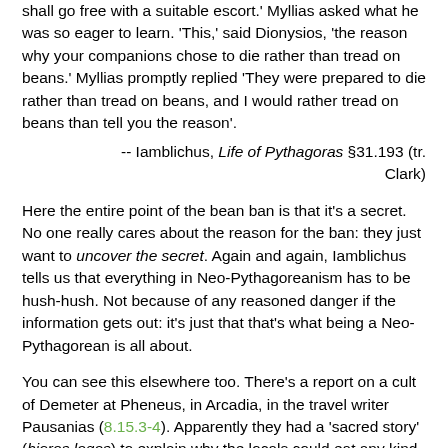shall go free with a suitable escort.' Myllias asked what he was so eager to learn. 'This,' said Dionysios, 'the reason why your companions chose to die rather than tread on beans.' Myllias promptly replied 'They were prepared to die rather than tread on beans, and I would rather tread on beans than tell you the reason'.
-- Iamblichus, Life of Pythagoras §31.193 (tr. Clark)
Here the entire point of the bean ban is that it's a secret. No one really cares about the reason for the ban: they just want to uncover the secret. Again and again, Iamblichus tells us that everything in Neo-Pythagoreanism has to be hush-hush. Not because of any reasoned danger if the information gets out: it's just that that's what being a Neo-Pythagorean is all about.
You can see this elsewhere too. There's a report on a cult of Demeter at Pheneus, in Arcadia, in the travel writer Pausanias (8.15.3-4). Apparently they had a 'sacred story' (hieros logos) to explain why the locals could eat any kind of